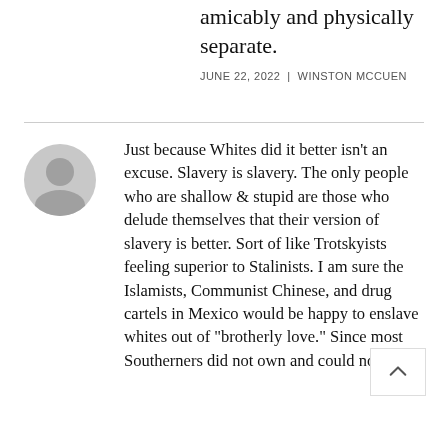amicably and physically separate.
JUNE 22, 2022  |  WINSTON MCCUEN
Just because Whites did it better isn't an excuse. Slavery is slavery. The only people who are shallow & stupid are those who delude themselves that their version of slavery is better. Sort of like Trotskyists feeling superior to Stalinists. I am sure the Islamists, Communist Chinese, and drug cartels in Mexico would be happy to enslave whites out of "brotherly love." Since most Southerners did not own and could not